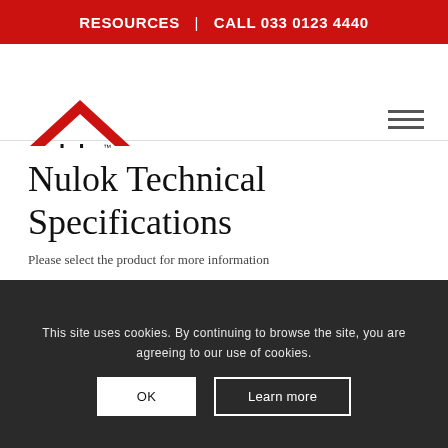RESOURCES | CALL 033 0123 4440
[Figure (logo): Nulok Roofing System logo — red triangle/chevron above with 'nulok' wordmark and 'Roofing System' subtitle]
Nulok Technical Specifications
Please select the product for more information
Natural Slate
This site uses cookies. By continuing to browse the site, you are agreeing to our use of cookies.